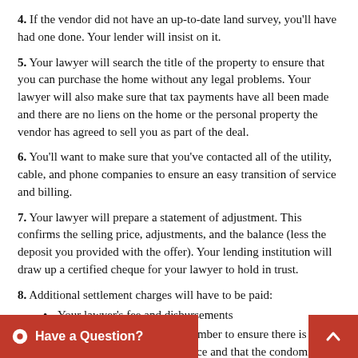4. If the vendor did not have an up-to-date land survey, you'll have had one done. Your lender will insist on it.
5. Your lawyer will search the title of the property to ensure that you can purchase the home without any legal problems. Your lawyer will also make sure that tax payments have all been made and there are no liens on the home or the personal property the vendor has agreed to sell you as part of the deal.
6. You'll want to make sure that you've contacted all of the utility, cable, and phone companies to ensure an easy transition of service and billing.
7. Your lawyer will prepare a statement of adjustment. This confirms the selling price, adjustments, and the balance (less the deposit you provided with the offer). Your lending institution will draw up a certified cheque for your lawyer to hold in trust.
8. Additional settlement charges will have to be paid:
Your lawyer's fee and disbursements
Condo and co-op fees (Remember to ensure there is an adequate Reserve fund in place and that the condominium corporation has had a Financial Audit and Reserve Fund Study completed by competent professionals.)